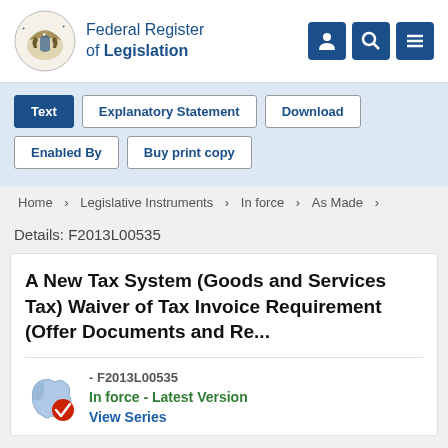Federal Register of Legislation
Text | Explanatory Statement | Download | Enabled By | Buy print copy
Home > Legislative Instruments > In force > As Made >
Details: F2013L00535
A New Tax System (Goods and Services Tax) Waiver of Tax Invoice Requirement (Offer Documents and Re...
- F2013L00535
In force - Latest Version
View Series